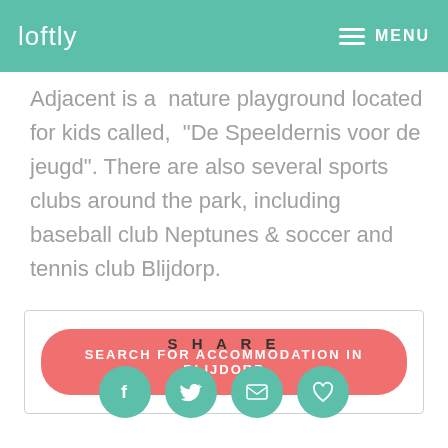loftly  MENU
Adjacent is a  nature playground located for kids called,  “De Speeldernis voor de jeugd”. There are also several sports clubs around the park, including baseball club Neptunes & soccer and tennis club Blijdorp.
SEARCH FOR ACCOMMODATION IN BLIJDORP
SHARE